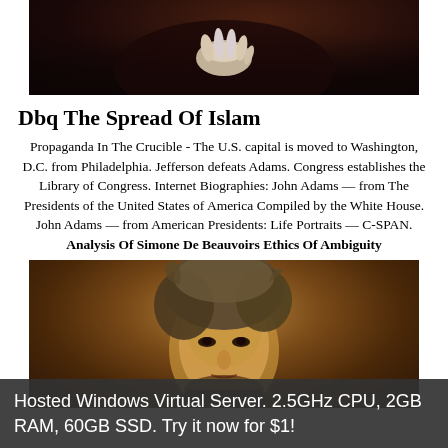[Figure (photo): Dark painting showing a pale hand against dark robes, cropped at top]
Dbq The Spread Of Islam
Propaganda In The Crucible - The U.S. capital is moved to Washington, D.C. from Philadelphia. Jefferson defeats Adams. Congress establishes the Library of Congress. Internet Biographies: John Adams — from The Presidents of the United States of America Compiled by the White House. John Adams — from American Presidents: Life Portraits — C-SPAN. Analysis Of Simone De Beauvoirs Ethics Of Ambiguity
[Figure (photo): Portrait painting of a man with disheveled gray-brown hair, looking intense, painted in warm brown tones]
Hosted Windows Virtual Server. 2.5GHz CPU, 2GB RAM, 60GB SSD. Try it now for $1!